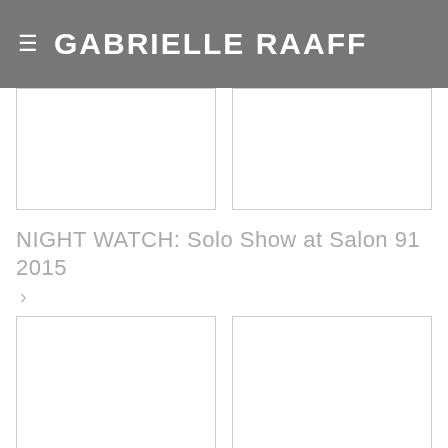GABRIELLE RAAFF
[Figure (photo): Top left image placeholder (empty/white)]
[Figure (photo): Top right image placeholder (empty/white)]
NIGHT WATCH: Solo Show at Salon 91 2015
[Figure (photo): Bottom left image placeholder (empty/white)]
[Figure (photo): Bottom right image placeholder (empty/white)]